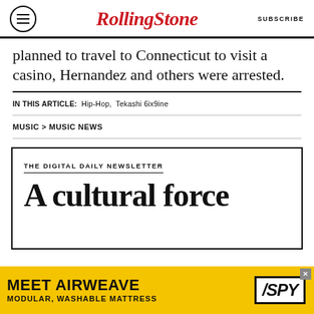Rolling Stone | SUBSCRIBE
planned to travel to Connecticut to visit a casino, Hernandez and others were arrested.
IN THIS ARTICLE: Hip-Hop, Tekashi 6ix9ine
MUSIC > MUSIC NEWS
[Figure (infographic): Rolling Stone newsletter signup box reading 'THE DIGITAL DAILY NEWSLETTER' and large text 'A cultural force']
[Figure (infographic): Advertisement banner: MEET AIRWEAVE / MODULAR, WASHABLE MATTRESS with SPY logo in yellow and black]